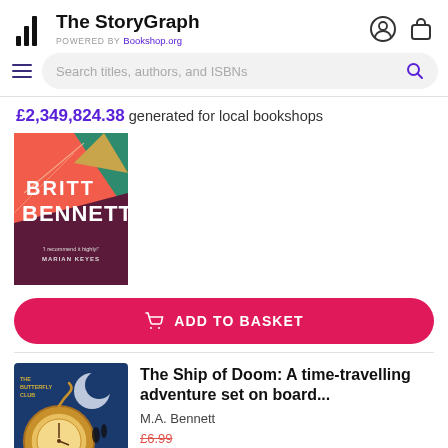The StoryGraph — POWERED BY Bookshop.org
£2,349,824.38 generated for local bookshops
[Figure (photo): Partially visible book cover: Brit Bennett book with coral/pink and teal geometric design and quote 'I recommend it highly! — Marian Keyes']
ADD TO BASKET
[Figure (photo): Book cover for 'The Ship of Doom' by The Butterfly Club — dark blue cover with golden pocket watch and silhouetted figures]
The Ship of Doom: A time-travelling adventure set on board...
M.A. Bennett
£6.99
£6.64